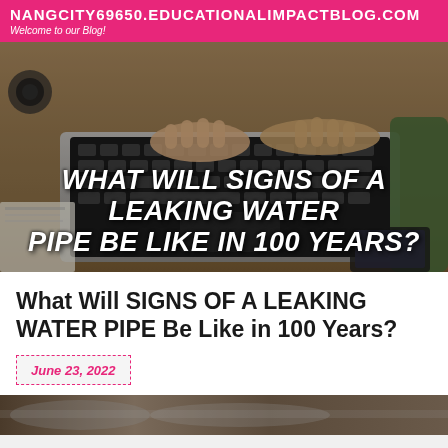NANGCITY69650.EDUCATIONALIMPACTBLOG.COM
Welcome to our Blog!
[Figure (photo): Person typing on a laptop keyboard viewed from above, on a wooden desk with camera and documents visible]
WHAT WILL SIGNS OF A LEAKING WATER PIPE BE LIKE IN 100 YEARS?
What Will SIGNS OF A LEAKING WATER PIPE Be Like in 100 Years?
June 23, 2022
[Figure (photo): Partial image of pipes or water infrastructure at bottom of page]